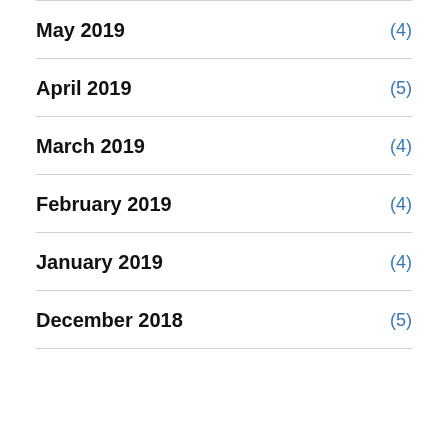May 2019 (4)
April 2019 (5)
March 2019 (4)
February 2019 (4)
January 2019 (4)
December 2018 (5)